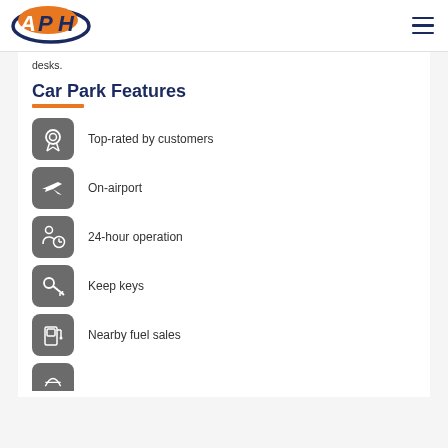[Figure (logo): APH logo with orange A, orange/blue PH letters and blue oval swoosh]
desks.
Car Park Features
Top-rated by customers
On-airport
24-hour operation
Keep keys
Nearby fuel sales